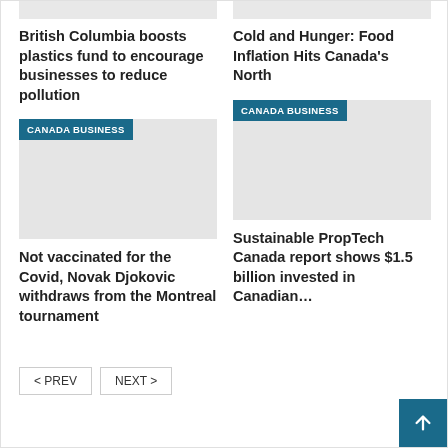[Figure (other): Partial image placeholder top left, light grey]
[Figure (other): Partial image placeholder top right, light grey]
British Columbia boosts plastics fund to encourage businesses to reduce pollution
Cold and Hunger: Food Inflation Hits Canada's North
[Figure (other): Canada Business card image placeholder, left column]
[Figure (other): Canada Business card image placeholder, right column]
Not vaccinated for the Covid, Novak Djokovic withdraws from the Montreal tournament
Sustainable PropTech Canada report shows $1.5 billion invested in Canadian…
< PREV   NEXT >